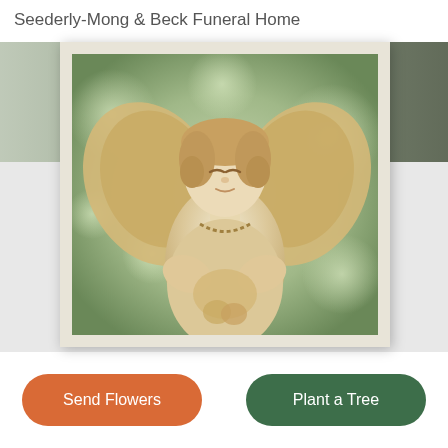Seederly-Mong & Beck Funeral Home
[Figure (photo): Framed photograph of a stone angel statue with wings, holding a small animal, set against a soft bokeh green background. The photo has a cream/beige mat border and white frame.]
Send Flowers
Plant a Tree